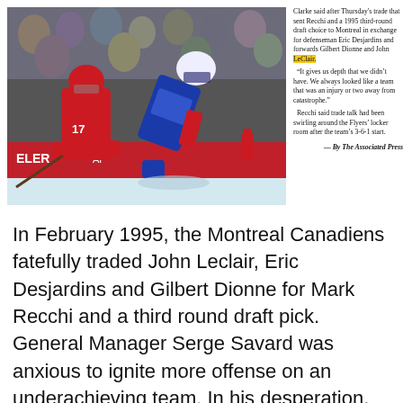[Figure (photo): Hockey players on ice, one in red jersey (#17) leaning over another player in blue/white jersey with red accents, in front of a red boards advertisement. Crowd visible in background.]
Clarke said after Thursday's trade that sent Recchi and a 1995 third-round draft choice to Montreal in exchange for defenseman Eric Desjardins and forwards Gilbert Dionne and John LeClair.
"It gives us depth that we didn't have. We always looked like a team that was an injury or two away from catastrophe."
Recchi said trade talk had been swirling around the Flyers' locker room after the team's 3-6-1 start.
— By The Associated Press
In February 1995, the Montreal Canadiens fatefully traded John Leclair, Eric Desjardins and Gilbert Dionne for Mark Recchi and a third round draft pick. General Manager Serge Savard was anxious to ignite more offense on an underachieving team. In his desperation, however, Savard parlayed away a blossoming John Leclair and the long-underrated Eric Desjardins. In return, the Habs got the services of another strong